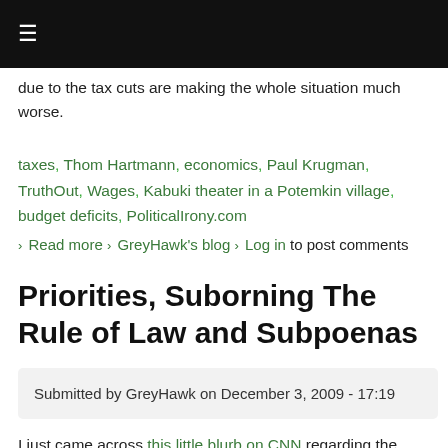☰
due to the tax cuts are making the whole situation much worse.
taxes, Thom Hartmann, economics, Paul Krugman, TruthOut, Wages, Kabuki theater in a Potemkin village, budget deficits, PoliticalIrony.com
› Read more › GreyHawk's blog › Log in to post comments
Priorities, Suborning The Rule of Law and Subpoenas
Submitted by GreyHawk on December 3, 2009 - 17:19
I just came across this little blurb on CNN regarding the "party crasher" incident at the White House: